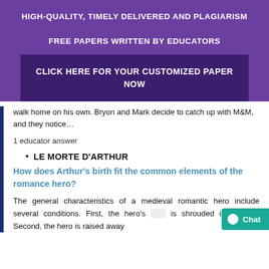HIGH-QUALITY, TIMELY DELIVERED AND PLAGIARISM FREE PAPERS WRITTEN BY EDUCATORS
CLICK HERE FOR YOUR CUSTOMIZED PAPER NOW
walk home on his own. Bryon and Mark decide to catch up with M&M, and they notice…
1 educator answer
LE MORTE D'ARTHUR
How does Arthur's birth fit the common elements of the romance hero?
The general characteristics of a medieval romantic hero include several conditions. First, the hero's birth is shrouded in mystery. Second, the hero is raised away